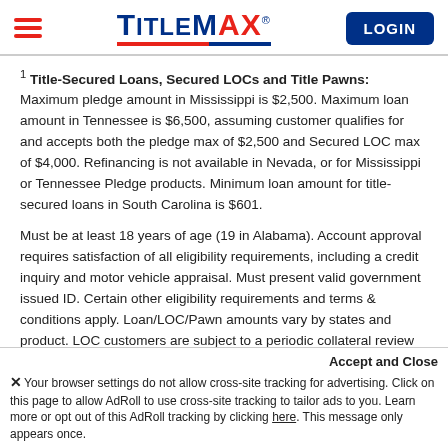TitleMax LOGIN
1 Title-Secured Loans, Secured LOCs and Title Pawns: Maximum pledge amount in Mississippi is $2,500. Maximum loan amount in Tennessee is $6,500, assuming customer qualifies for and accepts both the pledge max of $2,500 and Secured LOC max of $4,000. Refinancing is not available in Nevada, or for Mississippi or Tennessee Pledge products. Minimum loan amount for title-secured loans in South Carolina is $601.
Must be at least 18 years of age (19 in Alabama). Account approval requires satisfaction of all eligibility requirements, including a credit inquiry and motor vehicle appraisal. Must present valid government issued ID. Certain other eligibility requirements and terms & conditions apply. Loan/LOC/Pawn amounts vary by states and product. LOC customers are subject to a periodic collateral review to maintain credit limit. Proof of income documentation and ability to repay analysis is required in Missouri, Nevada, some Texas locations, and Utah.
Accept and Close
✕ Your browser settings do not allow cross-site tracking for advertising. Click on this page to allow AdRoll to use cross-site tracking to tailor ads to you. Learn more or opt out of this AdRoll tracking by clicking here. This message only appears once.